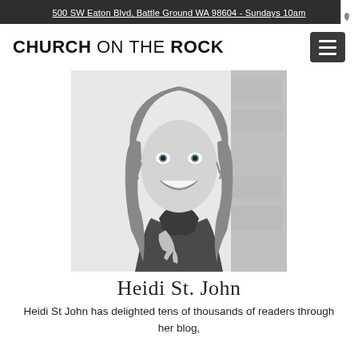500 SW Eaton Blvd, Battle Ground WA 98604 - Sundays 10am
CHURCH ON THE ROCK
[Figure (photo): Black and white portrait photo of Heidi St. John, a woman with long wavy hair, smiling, wearing a leather jacket, posed against a stone wall background.]
Heidi St. John
Heidi St John has delighted tens of thousands of readers through her blog, her Facebook page, and her books.